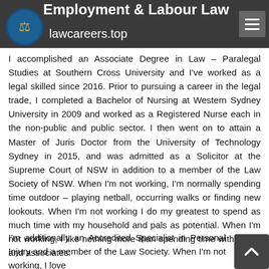Employment & Labour Laws — lawcareers.top
I accomplished an Associate Degree in Law – Paralegal Studies at Southern Cross University and I've worked as a legal skilled since 2016. Prior to pursuing a career in the legal trade, I completed a Bachelor of Nursing at Western Sydney University in 2009 and worked as a Registered Nurse each in the non-public and public sector. I then went on to attain a Master of Juris Doctor from the University of Technology Sydney in 2015, and was admitted as a Solicitor at the Supreme Court of NSW in addition to a member of the Law Society of NSW. When I'm not working, I'm normally spending time outdoor – playing netball, occurring walks or finding new lookouts. When I'm not working I do my greatest to spend as much time with my household and pals as potential. When I'm not working, I like nothing more than spending time with family and associates.
I'm additionally an Accredited Specialist in Personal Injury and a member of the Law Society. When I'm not working, I love